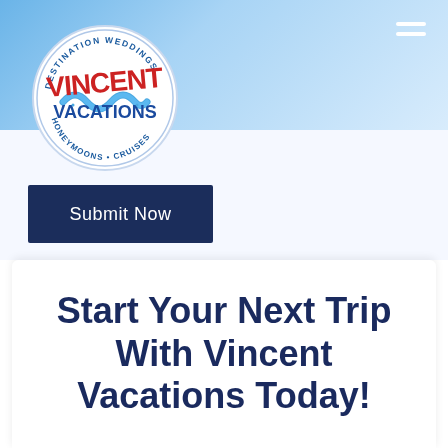[Figure (logo): Vincent Vacations circular logo with red VINCENT text, blue VACATIONS text, wave graphic, and text around the border reading DESTINATION WEDDINGS, HONEYMOONS, CRUISES]
[Figure (other): Hamburger menu icon (three white horizontal lines) in top right corner]
Submit Now
Start Your Next Trip With Vincent Vacations Today!